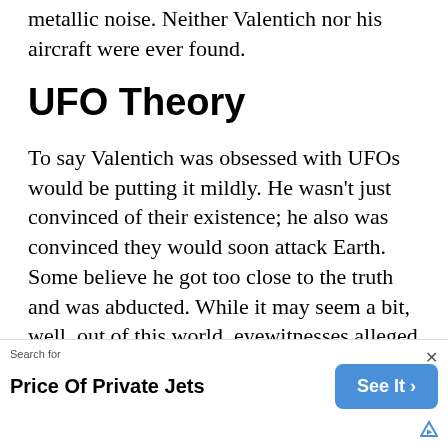metallic noise. Neither Valentich nor his aircraft were ever found.
UFO Theory
To say Valentich was obsessed with UFOs would be putting it mildly. He wasn’t just convinced of their existence; he also was convinced they would soon attack Earth. Some believe he got too close to the truth and was abducted. While it may seem a bit, well, out of this world, eyewitnesses alleged that something else was out there the night of his disappearance. One individual claimed to see
Search for
Price Of Private Jets
See It ›